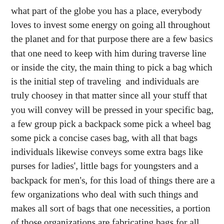what part of the globe you has a place, everybody loves to invest some energy on going all throughout the planet and for that purpose there are a few basics that one need to keep with him during traverse line or inside the city, the main thing to pick a bag which is the initial step of traveling  and individuals are truly choosey in that matter since all your stuff that you will convey will be pressed in your specific bag, a few group pick a backpack some pick a wheel bag some pick a concise cases bag, with all that bags individuals likewise conveys some extra bags like purses for ladies', little bags for youngsters and a backpack for men's, for this load of things there are a few organizations who deal with such things and makes all sort of bags that one necessities, a portion of those organizations are fabricating bags for all ages they are additionally producing fanny bags which we tie on our body to convey wallets, identifications and ids as well, some are exceptional in ladies' cowboysbag